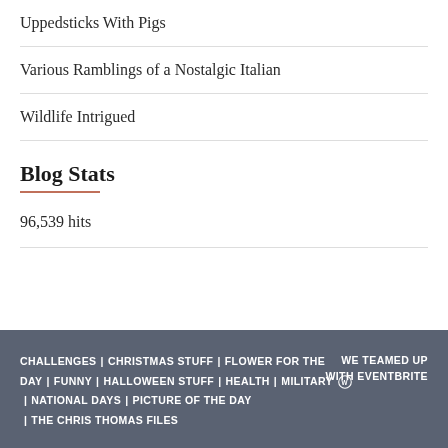Uppedsticks With Pigs
Various Ramblings of a Nostalgic Italian
Wildlife Intrigued
Blog Stats
96,539 hits
CHALLENGES | CHRISTMAS STUFF | FLOWER FOR THE DAY | FUNNY | HALLOWEEN STUFF | HEALTH | MILITARY | NATIONAL DAYS | PICTURE OF THE DAY | THE CHRIS THOMAS FILES  WE TEAMED UP WITH EVENTBRITE